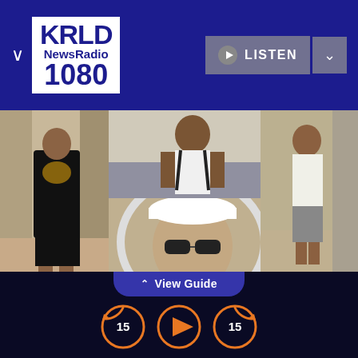KRLD NewsRadio 1080 — LISTEN
[Figure (photo): Three surveillance camera photos showing suspects: left - man in black t-shirt with graphic print and black shorts; center top - man in white tank top with backpack; center bottom - person in white cap, sunglasses, and brown jacket; right - man in white t-shirt and gray shorts]
FBI on the hunt for 'Empty Promise Bandit'
View Guide
[Figure (other): Media player controls: rewind 15 seconds button, play button, fast forward 15 seconds button, all with orange circle outlines]